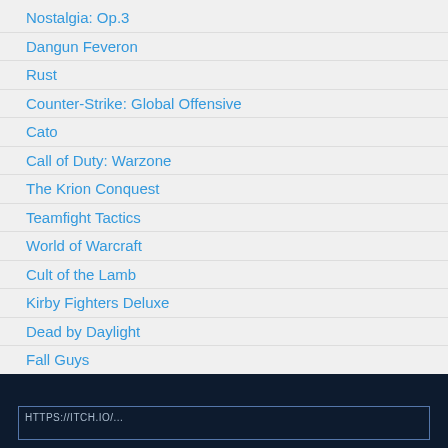Nostalgia: Op.3
Dangun Feveron
Rust
Counter-Strike: Global Offensive
Cato
Call of Duty: Warzone
The Krion Conquest
Teamfight Tactics
World of Warcraft
Cult of the Lamb
Kirby Fighters Deluxe
Dead by Daylight
Fall Guys
SkyGunner
Drift King
Escape from Tarkov